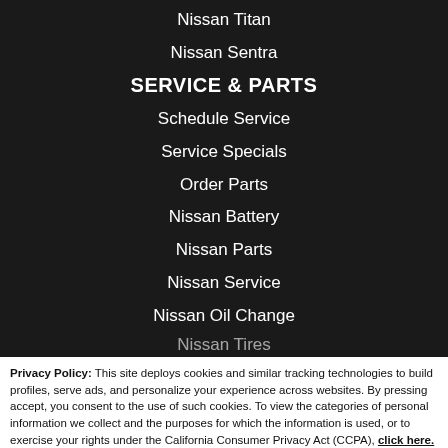Nissan Titan
Nissan Sentra
SERVICE & PARTS
Schedule Service
Service Specials
Order Parts
Nissan Battery
Nissan Parts
Nissan Service
Nissan Oil Change
Nissan Tires
Privacy Policy: This site deploys cookies and similar tracking technologies to build profiles, serve ads, and personalize your experience across websites. By pressing accept, you consent to the use of such cookies. To view the categories of personal information we collect and the purposes for which the information is used, or to exercise your rights under the California Consumer Privacy Act (CCPA), click here. Note that while we do not sell personal information for monetary value, we disclose personal information to third parties, such as vehicle manufacturers, in such a way that may be considered a "sale" of personal information under the CCPA. To direct us to stop the sale of your personal information, or to re-access these settings or disclosures at anytime, click the following icon or link:
Do Not Sell My Personal Information
Language: English
Powered by ComplyAuto
Accept and Continue →
California Privacy Disclosures
×